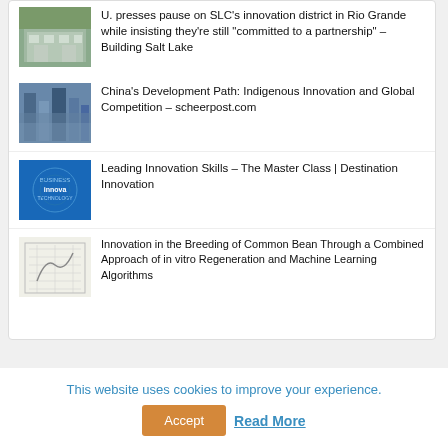U. presses pause on SLC's innovation district in Rio Grande while insisting they're still "committed to a partnership" – Building Salt Lake
China's Development Path: Indigenous Innovation and Global Competition – scheerpost.com
Leading Innovation Skills – The Master Class | Destination Innovation
Innovation in the Breeding of Common Bean Through a Combined Approach of in vitro Regeneration and Machine Learning Algorithms
This website uses cookies to improve your experience.
Accept
Read More